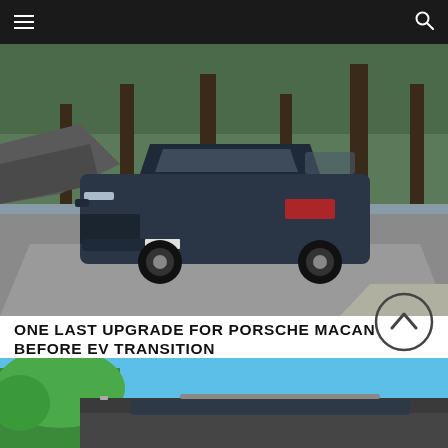Navigation bar with hamburger menu and search icon
[Figure (photo): A dark navy blue Porsche Macan SUV driving on a road with trees and rocky terrain in the background]
ONE LAST UPGRADE FOR PORSCHE MACAN BEFORE EV TRANSITION
BOTCHI SANTOS × MARCH 30, 2022
[Figure (photo): Partial view of a second car article image showing the roof of a vehicle with green trees and blue sky in the background]